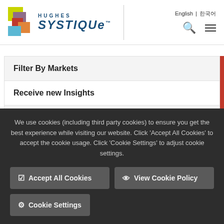[Figure (logo): Hughes Systique logo with colorful overlapping squares and stylized text]
English | 한국어
Filter By Markets
Receive new Insights
Filter by T...
We use cookies (including third party cookies) to ensure you get the best experience while visiting our website. Click 'Accept All Cookies' to accept the cookie usage. Click 'Cookie Settings' to adjust cookie settings.
✓ Accept All Cookies
👁 View Cookie Policy
⚙ Cookie Settings